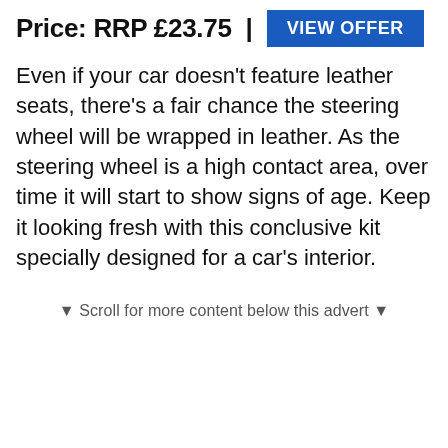Price: RRP £23.75 | VIEW OFFER
Even if your car doesn't feature leather seats, there's a fair chance the steering wheel will be wrapped in leather. As the steering wheel is a high contact area, over time it will start to show signs of age. Keep it looking fresh with this conclusive kit specially designed for a car's interior.
▼ Scroll for more content below this advert ▼